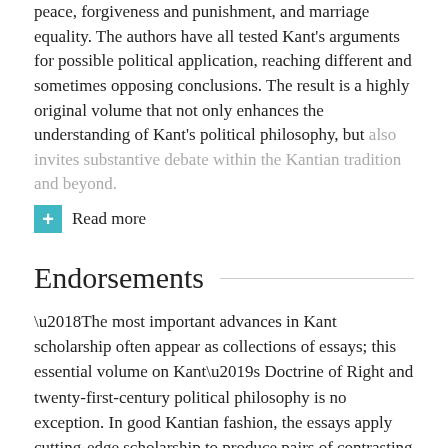peace, forgiveness and punishment, and marriage equality. The authors have all tested Kant's arguments for possible political application, reaching different and sometimes opposing conclusions. The result is a highly original volume that not only enhances the understanding of Kant's political philosophy, but also invites substantive debate within the Kantian tradition and beyond.
Read more
Endorsements
‘The most important advances in Kant scholarship often appear as collections of essays; this essential volume on Kant’s Doctrine of Right and twenty-first-century political philosophy is no exception. In good Kantian fashion, the essays apply cutting-edge scholarship to produce pairs of contrasting answers to key questions in political philosophy.’
-Professor Elisabeth Ellis, University of Otago
‘This collection of essays evidences the exciting capacity of